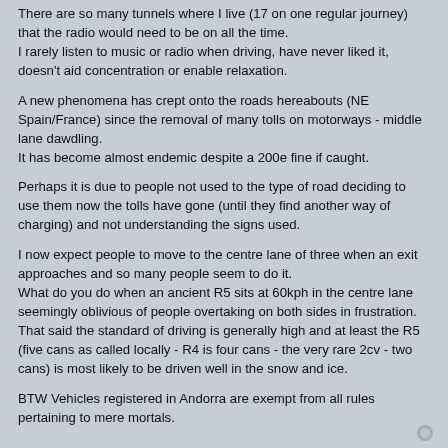There are so many tunnels where I live (17 on one regular journey) that the radio would need to be on all the time.
I rarely listen to music or radio when driving, have never liked it, doesn't aid concentration or enable relaxation.
A new phenomena has crept onto the roads hereabouts (NE Spain/France) since the removal of many tolls on motorways - middle lane dawdling.
It has become almost endemic despite a 200e fine if caught.
Perhaps it is due to people not used to the type of road deciding to use them now the tolls have gone (until they find another way of charging) and not understanding the signs used.
I now expect people to move to the centre lane of three when an exit approaches and so many people seem to do it.
What do you do when an ancient R5 sits at 60kph in the centre lane seemingly oblivious of people overtaking on both sides in frustration.
That said the standard of driving is generally high and at least the R5 (five cans as called locally - R4 is four cans - the very rare 2cv - two cans) is most likely to be driven well in the snow and ice.
BTW Vehicles registered in Andorra are exempt from all rules pertaining to mere mortals.